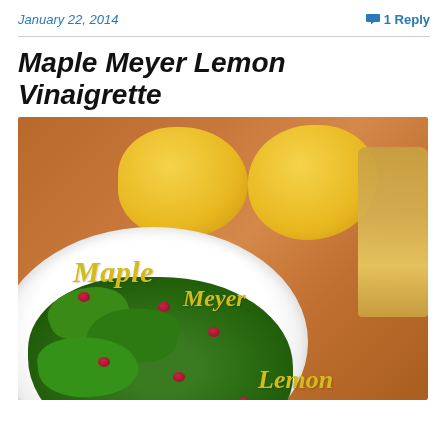January 22, 2014
1 Reply
Maple Meyer Lemon Vinaigrette
[Figure (photo): A white bowl filled with green salad leaves and dried cranberries, with two Meyer lemons and a jar of vinaigrette dressing on a wooden surface. Text overlay reads 'Maple Meyer Lemon' in italic gold/yellow lettering.]